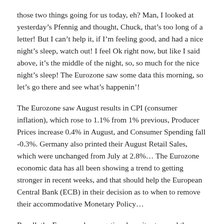those two things going for us today, eh? Man, I looked at yesterday's Pfennig and thought, Chuck, that's too long of a letter! But I can't help it, if I'm feeling good, and had a nice night's sleep, watch out! I feel Ok right now, but like I said above, it's the middle of the night, so, so much for the nice night's sleep! The Eurozone saw some data this morning, so let's go there and see what's happenin'!
The Eurozone saw August results in CPI (consumer inflation), which rose to 1.1% from 1% previous, Producer Prices increase 0.4% in August, and Consumer Spending fall -0.3%. Germany also printed their August Retail Sales, which were unchanged from July at 2.8%… The Eurozone economic data has all been showing a trend to getting stronger in recent weeks, and that should help the European Central Bank (ECB) in their decision as to when to remove their accommodative Monetary Policy…
Recall, the Eurozone has negative deposit rates, and those have got to go! And the ECB meeting in Rocktober, is when ECB President, Mario Draghi, told us he would give the details on their unwinding of the ECB's balance sheet of bonds… See, Mario? I remembered what you